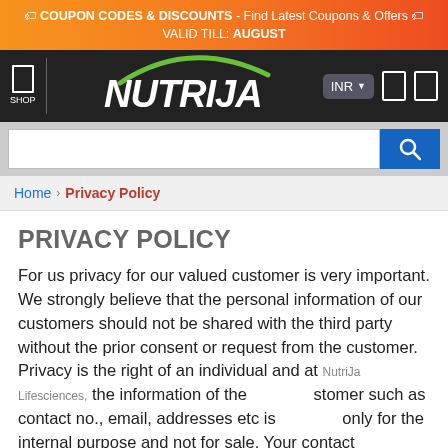🏷 COUPON CODES & DISCOUNTS - Find Latest Coupons & Offers 🏷 VALID TILL: AUGUST
[Figure (logo): NutriJa logo with green swoosh on dark navbar, SHOP button, INR currency selector and icon buttons]
Home › Privacy Policy (breadcrumb navigation)
PRIVACY POLICY
For us privacy for our valued customer is very important. We strongly believe that the personal information of our customers should not be shared with the third party without the prior consent or request from the customer. Privacy is the right of an individual and at NutriJa Lifesciences, the information of the customer such as contact no., email, addresses etc is only for the internal purpose and not for sale. Your contact information is stored in our database and